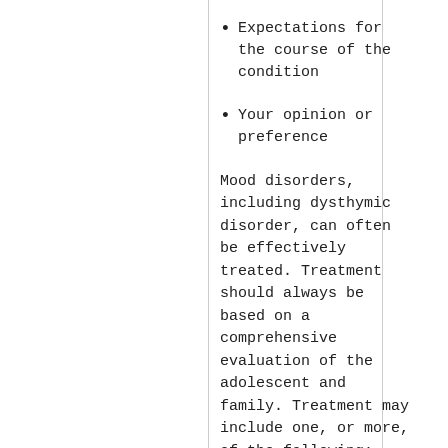Expectations for the course of the condition
Your opinion or preference
Mood disorders, including dysthymic disorder, can often be effectively treated. Treatment should always be based on a comprehensive evaluation of the adolescent and family. Treatment may include one, or more, of the following:
Antidepressant medications (especially when combined with psychotherapy has shown to be very effective in the treatment of depression in children and teens)